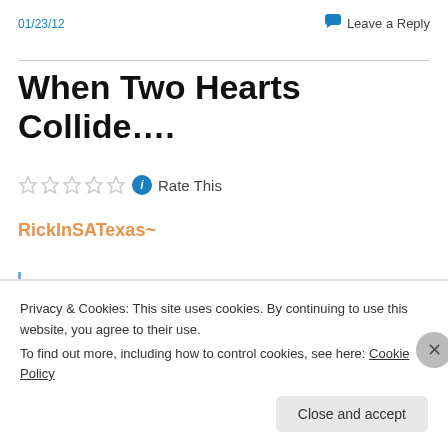01/23/12
Leave a Reply
When Two Hearts Collide….
Rate This
RickInSATexas~
Privacy & Cookies: This site uses cookies. By continuing to use this website, you agree to their use.
To find out more, including how to control cookies, see here: Cookie Policy
Close and accept